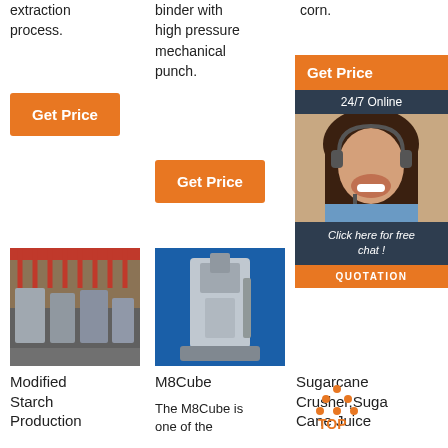extraction process.
[Figure (other): Orange 'Get Price' button, column 1]
binder with high pressure mechanical punch.
[Figure (other): Orange 'Get Price' button, column 2]
corn.
[Figure (other): Chat widget with 'Get Price', '24/7 Online', photo of woman with headset, 'Click here for free chat!', 'QUOTATION' button]
[Figure (photo): Modified starch production facility interior]
[Figure (photo): M8Cube hydraulic oil press machine on blue background]
Modified Starch Production
M8Cube
The M8Cube is one of the
Sugarcane Crusher,Suga Cane Juice